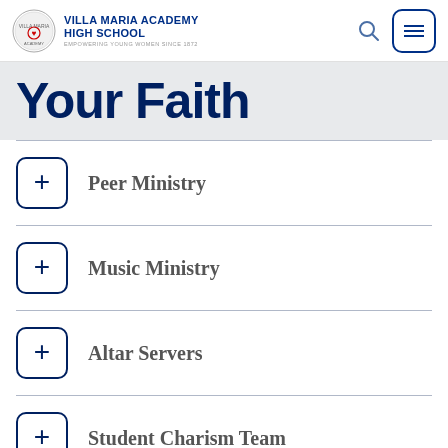Villa Maria Academy High School — Empowering Young Women Since 1872
Your Faith
Peer Ministry
Music Ministry
Altar Servers
Student Charism Team